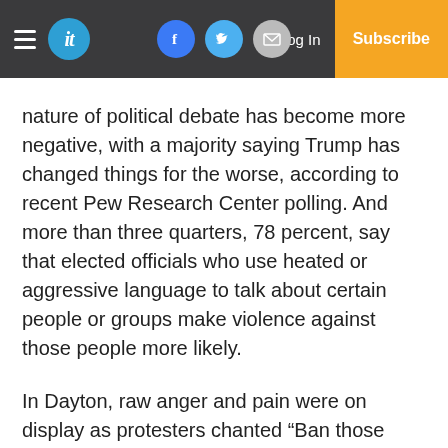Navigation bar with hamburger menu, 'it' logo, Facebook, Twitter, Email social buttons, Log In, and Subscribe
nature of political debate has become more negative, with a majority saying Trump has changed things for the worse, according to recent Pew Research Center polling. And more than three quarters, 78 percent, say that elected officials who use heated or aggressive language to talk about certain people or groups make violence against those people more likely.
In Dayton, raw anger and pain were on display as protesters chanted “Ban those guns” and “Do something!” during Trump’s visit.